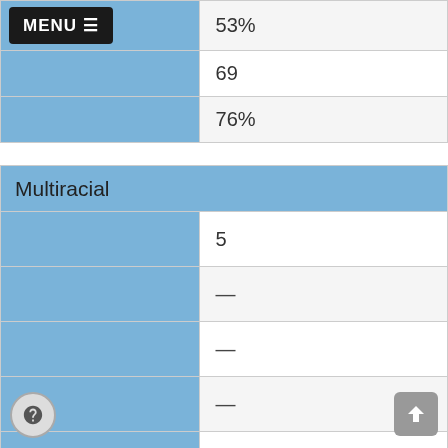|  |  |
| --- | --- |
| MENU ≡ | 53% |
|  | 69 |
|  | 76% |
| Multiracial |  |
|  | 5 |
|  | — |
|  | — |
|  | — |
|  | — |
|  | — |
|  | — |
|  |  |